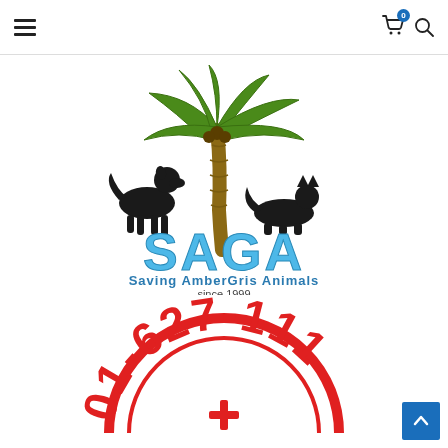Navigation bar with hamburger menu, cart icon with badge 0, and search icon
[Figure (logo): SAGA - Saving AmberGris Animals logo. Features a palm tree with green foliage and brown trunk, a black silhouette of a dog on the left, and a black silhouette of a cat on the right. Below is large blue text 'SAGA', then 'Saving AmberGris Animals', 'since 1999', 'San Pedro, Belize'.]
[Figure (logo): Partial circular red-bordered stamp/logo showing phone number 01-627-111... with a red cross symbol visible at the bottom center.]